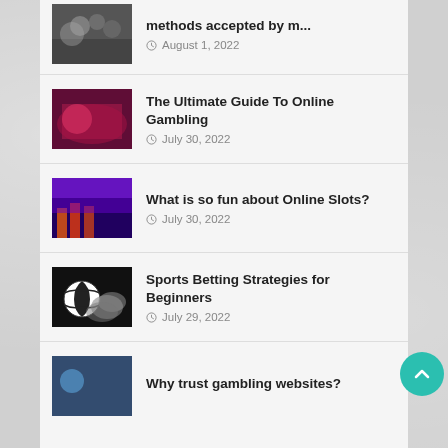methods accepted by ... | August 1, 2022
The Ultimate Guide To Online Gambling | July 30, 2022
What is so fun about Online Slots? | July 30, 2022
Sports Betting Strategies for Beginners | July 29, 2022
Why trust gambling websites?